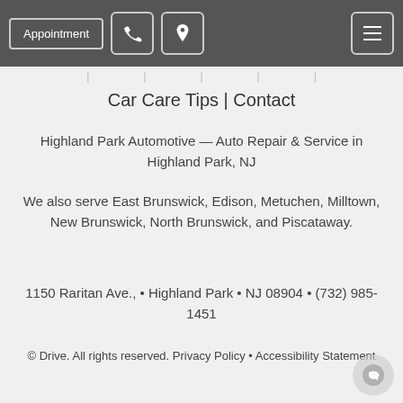Appointment | [phone icon] | [location icon] | [menu icon]
Car Care Tips | Contact
Highland Park Automotive — Auto Repair & Service in Highland Park, NJ
We also serve East Brunswick, Edison, Metuchen, Milltown, New Brunswick, North Brunswick, and Piscataway.
1150 Raritan Ave., • Highland Park • NJ 08904 • (732) 985-1451
© Drive. All rights reserved. Privacy Policy • Accessibility Statement